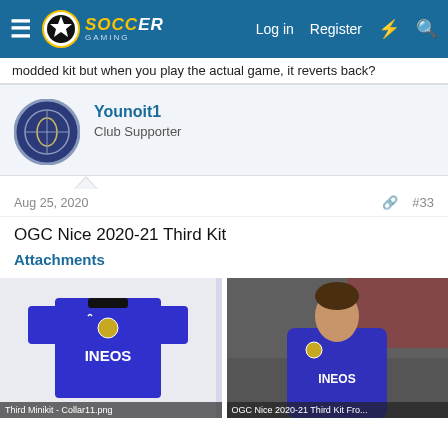Soccer Gaming — Log in  Register
modded kit but when you play the actual game, it reverts back?
Younoit1
Club Supporter
Aug 25, 2020  #33
OGC Nice 2020-21 Third Kit
Attachments
[Figure (photo): Blue OGC Nice 2020-21 third kit jersey with INEOS sponsor — Third Minikit - Collar11.png]
[Figure (photo): Player wearing OGC Nice 2020-21 Third Kit in a game — OGC Nice 2020-21 Third Kit Fro...]